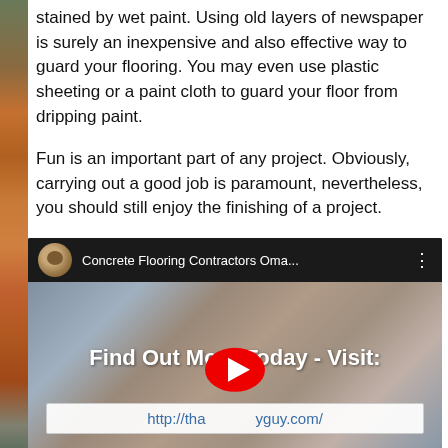stained by wet paint. Using old layers of newspaper is surely an inexpensive and also effective way to guard your flooring. You may even use plastic sheeting or a paint cloth to guard your floor from dripping paint.
Fun is an important part of any project. Obviously, carrying out a good job is paramount, nevertheless, you should still enjoy the finishing of a project.
[Figure (screenshot): YouTube video embed showing 'Concrete Flooring Contractors Oma...' with a user avatar, video title bar, blurred video content showing 'Find Out More Today - Visit:' text, a YouTube play button, and a URL bar showing 'http://tha...yguy.com/']